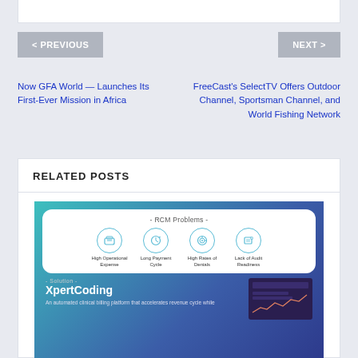< PREVIOUS
NEXT >
Now GFA World — Launches Its First-Ever Mission in Africa
FreeCast's SelectTV Offers Outdoor Channel, Sportsman Channel, and World Fishing Network
RELATED POSTS
[Figure (infographic): RCM Problems infographic showing four icons: High Operational Expense, Long Payment Cycle, High Rates of Denials, Lack of Audit Readiness. Below is Solution - XpertCoding: An automated clinical billing platform that accelerates revenue cycle while...]